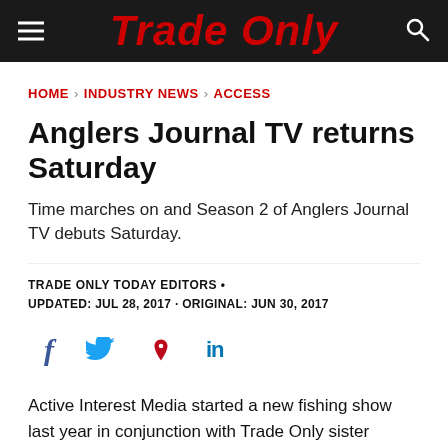Trade Only
HOME › INDUSTRY NEWS › ACCESS
Anglers Journal TV returns Saturday
Time marches on and Season 2 of Anglers Journal TV debuts Saturday.
TRADE ONLY TODAY EDITORS •
UPDATED: JUL 28, 2017 · ORIGINAL: JUN 30, 2017
[Figure (other): Social media share icons: Facebook, Twitter, Pinterest, LinkedIn]
Active Interest Media started a new fishing show last year in conjunction with Trade Only sister